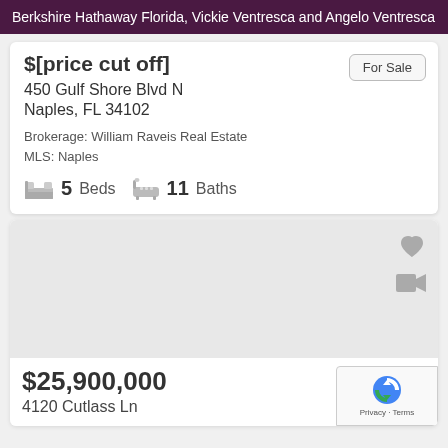Berkshire Hathaway Florida, Vickie Ventresca and Angelo Ventresca
$[price cut off]
450 Gulf Shore Blvd N
Naples, FL 34102
Brokerage: William Raveis Real Estate
MLS: Naples
5 Beds  11 Baths
For Sale
[Figure (photo): Property listing photo area (blank/loading) with heart and video icons]
$25,900,000
Single Fami[ly]
4120 Cutlass Ln
For Sale